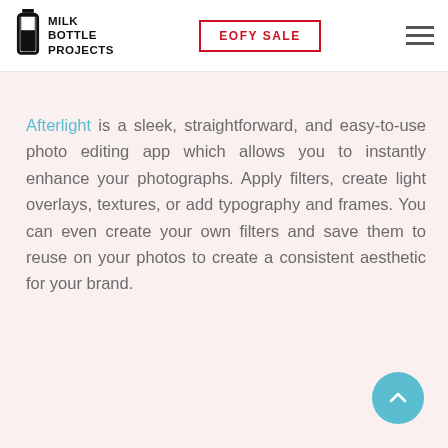MILK BOTTLE PROJECTS | EOFY SALE
Afterlight is a sleek, straightforward, and easy-to-use photo editing app which allows you to instantly enhance your photographs. Apply filters, create light overlays, textures, or add typography and frames. You can even create your own filters and save them to reuse on your photos to create a consistent aesthetic for your brand.